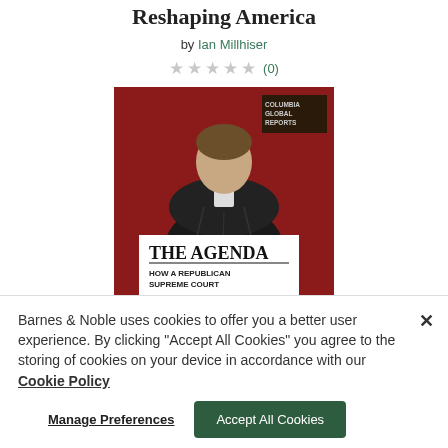Reshaping America
by Ian Millhiser
★★★★★ (0)
[Figure (photo): Book cover of 'The Agenda: How a Republican Supreme Court' by Ian Millhiser, published by Columbia Global Reports. Shows a figure in a black judicial robe from behind, against a dark red background.]
Barnes & Noble uses cookies to offer you a better user experience. By clicking "Accept All Cookies" you agree to the storing of cookies on your device in accordance with our Cookie Policy
Manage Preferences
Accept All Cookies